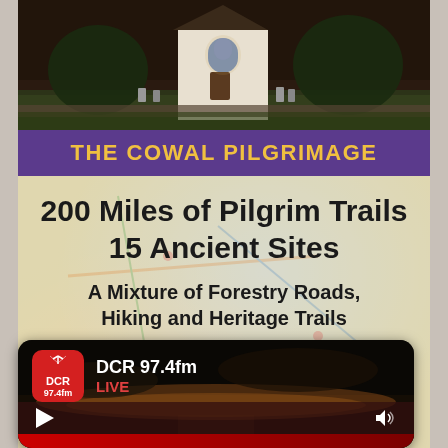[Figure (photo): Photo of a white church building with a dark roof and stained glass window, surrounded by gravestones and greenery, with a dark moody sky]
THE COWAL PILGRIMAGE
200 Miles of Pilgrim Trails
15 Ancient Sites
A Mixture of Forestry Roads, Hiking and Heritage Trails
Breathtaking Views and Wildlife Around Here
[Figure (screenshot): DCR 97.4fm radio player widget showing live stream. Logo is a red rounded square with antenna icon and DCR 97.4fm text. Shows station name DCR 97.4fm, LIVE badge in red, play button and volume icon on dark background with landscape photo.]